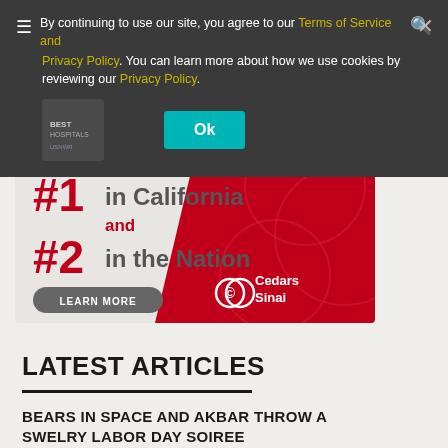By continuing to use our site, you agree to our Terms of Service and Privacy Policy. You can learn more about how we use cookies by reviewing our Privacy Policy.
[Figure (screenshot): Cookie consent banner with Ok button on dark background]
[Figure (infographic): Cedars Sinai advertisement: #1 in California and #2 in the Nation, with Learn More button]
LATEST ARTICLES
BEARS IN SPACE AND AKBAR THROW A SWELRY LABOR DAY SOIREE